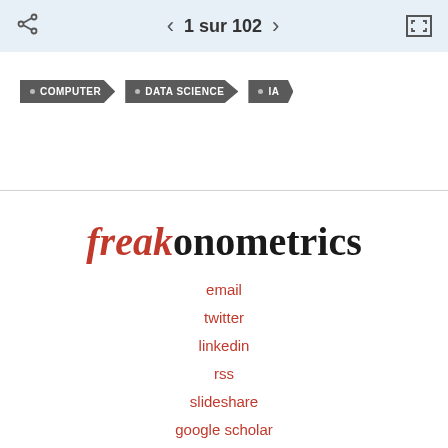1 sur 102
• COMPUTER
• DATA SCIENCE
• IA
freakonometrics
email
twitter
linkedin
rss
slideshare
google scholar
research gate
dblp